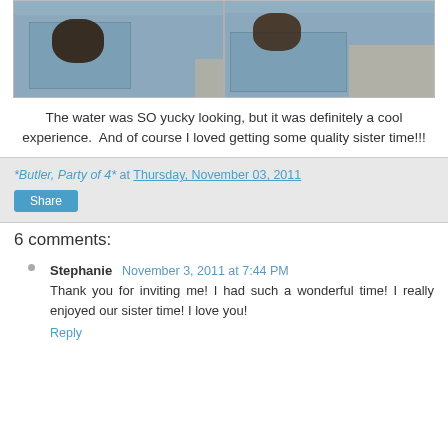[Figure (photo): Two side-by-side photos showing muddy water in a blue cloth/towel on what appears to be a carpet floor.]
The water was SO yucky looking, but it was definitely a cool experience.  And of course I loved getting some quality sister time!!!
*Butler, Party of 4* at Thursday, November 03, 2011
Share
6 comments:
Stephanie  November 3, 2011 at 7:44 PM
Thank you for inviting me! I had such a wonderful time! I really enjoyed our sister time! I love you!
Reply